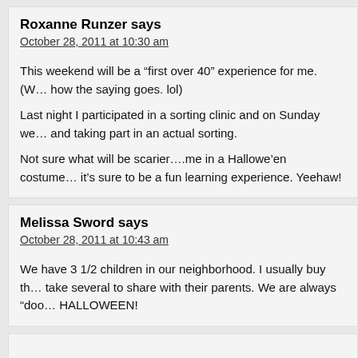Roxanne Runzer says
October 28, 2011 at 10:30 am
This weekend will be a “first over 40” experience for me. (W… how the saying goes. lol)
Last night I participated in a sorting clinic and on Sunday we… and taking part in an actual sorting.
Not sure what will be scarier….me in a Hallowe’en costume… it’s sure to be a fun learning experience. Yeehaw!
Melissa Sword says
October 28, 2011 at 10:43 am
We have 3 1/2 children in our neighborhood. I usually buy th… take several to share with their parents. We are always “doo… HALLOWEEN!